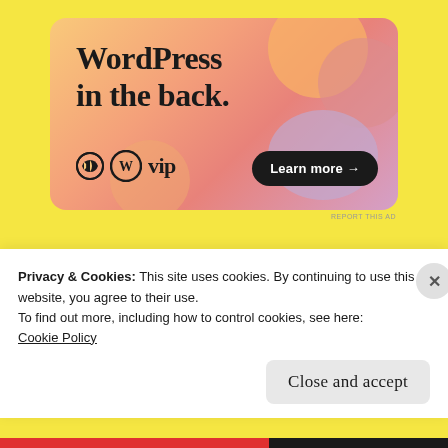[Figure (illustration): WordPress VIP advertisement banner with colorful blobs gradient background (orange, pink, lavender). Large bold text 'WordPress in the back.' with WordPress VIP logo on bottom left and a dark 'Learn more →' button on bottom right.]
REPORT THIS AD
Whenever we came to visit those, oh-so-many times, did you ever find yourself—
Privacy & Cookies: This site uses cookies. By continuing to use this website, you agree to their use.
To find out more, including how to control cookies, see here:
Cookie Policy
Close and accept